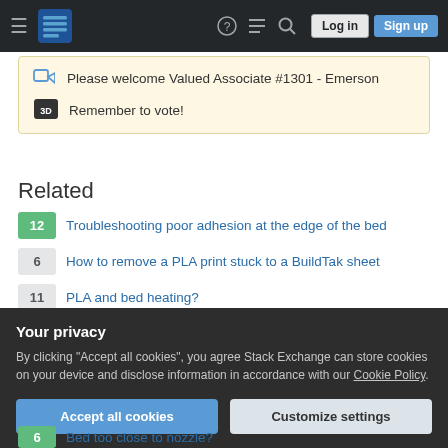Stack Exchange navigation bar with hamburger menu, logo, help, chat, search icons, Log in and Sign up buttons
Please welcome Valued Associate #1301 - Emerson
Remember to vote!
Related
12 Troubleshooting poor adhesion at the edge of the bed
6 How to remove a PLA print stuck to a BuildTak sheet
11 PLA and bed heating?
4 3D prints keep suffering from warping
Your privacy
By clicking "Accept all cookies", you agree Stack Exchange can store cookies on your device and disclose information in accordance with our Cookie Policy.
Accept all cookies  Customize settings
6 Bed too close to nozzle?